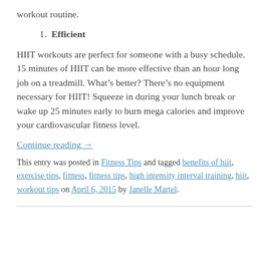workout routine.
1. Efficient
HIIT workouts are perfect for someone with a busy schedule. 15 minutes of HIIT can be more effective than an hour long job on a treadmill. What’s better? There’s no equipment necessary for HIIT! Squeeze in during your lunch break or wake up 25 minutes early to burn mega calories and improve your cardiovascular fitness level.
Continue reading →
This entry was posted in Fitness Tips and tagged benefits of hiit, exercise tips, fitness, fitness tips, high intensity interval training, hiit, workout tips on April 6, 2015 by Janelle Martel.